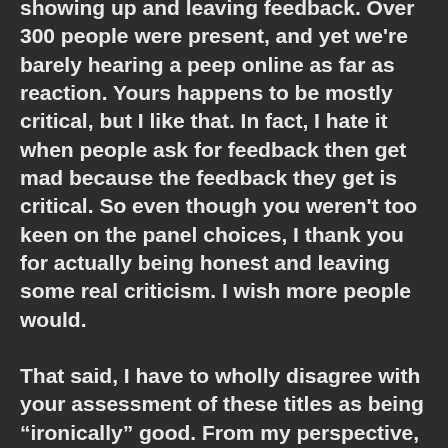showing up and leaving feedback. Over 300 people were present, and yet we're barely hearing a peep online as far as reaction. Yours happens to be mostly critical, but I like that. In fact, I hate it when people ask for feedback then get mad because the feedback they get is critical. So even though you weren't too keen on the panel choices, I thank you for actually being honest and leaving some real criticism. I wish more people would.
That said, I have to wholly disagree with your assessment of these titles as being "ironically" good. From my perspective, these are all "legitimately good" works of entertainment. The Flying Phantom Ship may not be a candidate for the Noboro Ofuji award, but it's a fast-paced, well-animated, action-packed story that's highly entertaining with a tremendous creative pedigree behind it. My other picks featured work